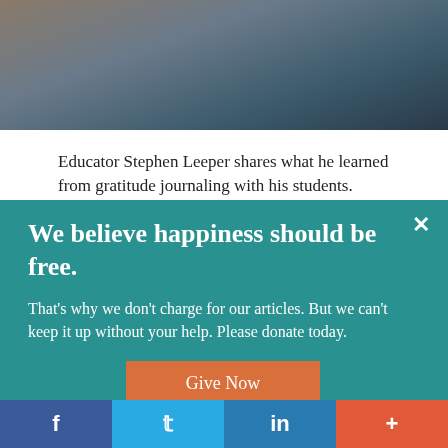[Figure (photo): Partial view of a person standing, cropped at the waist, in what appears to be a classroom or presentation setting]
Educator Stephen Leeper shares what he learned from gratitude journaling with his students.
We believe happiness should be free.
That’s why we don’t charge for our articles. But we can’t keep it up without your help. Please donate today.
Give Now
f  •  🐦  in  •  +